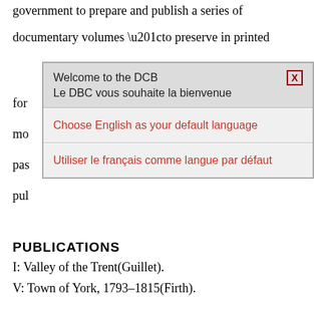government to prepare and publish a series of
documentary volumes “to preserve in printed
[Figure (screenshot): A modal dialog box with title 'Welcome to the DCB / Le DBC vous souhaite la bienvenue', a close button marked X, and two options: 'Choose English as your default language' and 'Utiliser le français comme langue par défaut']
for
mo
pas
pul
PUBLICATIONS
I: Valley of the Trent(Guillet).
V: Town of York, 1793–1815(Firth).
VI: Muskoka and Haliburton(Murray).
VIII: Town of York, 1815–1834(Firth).
Debates of the Legislative Assembly of United
Canada. Elizabeth Gibbs et al.6 vols. in 8 to date. Montreal, 1970–